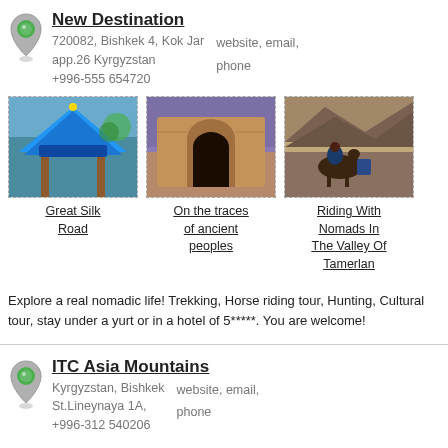New Destination
720082, Bishkek 4, Kok Jar app.26 Kyrgyzstan +996-555 654720
website, email, phone
[Figure (photo): Blue ornate pagoda-style rooftop, Great Silk Road tour]
Great Silk Road
[Figure (photo): Ancient stone archway ruins, On the traces of ancient peoples tour]
On the traces of ancient peoples
[Figure (photo): Horses with riders in mountain valley, Riding With Nomads In The Valley Of Tamerlan]
Riding With Nomads In The Valley Of Tamerlan
Explore a real nomadic life! Trekking, Horse riding tour, Hunting, Cultural tour, stay under a yurt or in a hotel of 5*****. You are welcome!
ITC Asia Mountains
Kyrgyzstan, Bishkek St.Lineynaya 1A, +996-312 540206
website, email, phone
Excursions
Budget Tours!